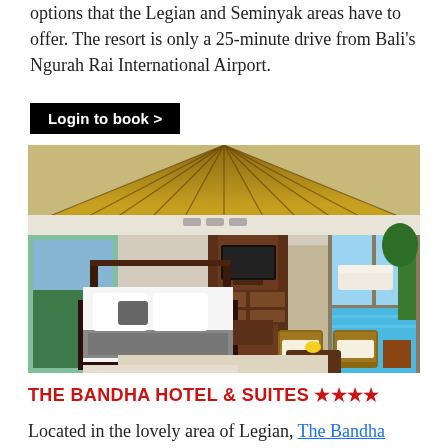options that the Legian and Seminyak areas have to offer. The resort is only a 25-minute drive from Bali's Ngurah Rai International Airport.
Login to book >
[Figure (photo): Luxury hotel room with four-poster bed, high thatched ceiling, white linens, TV unit, and glass doors opening to a private pool with outdoor loungers and lush greenery.]
THE BANDHA HOTEL & SUITES ★★★★
Located in the lovely area of Legian, The Bandha